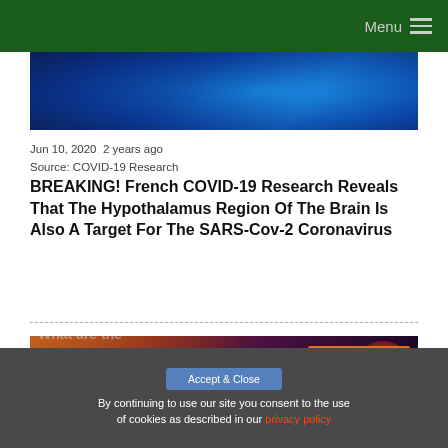Menu
[Figure (photo): Blue brain scan / neural illustration image at top of article]
Jun 10, 2020  2 years ago
Source: COVID-19 Research
BREAKING! French COVID-19 Research Reveals That The Hypothalamus Region Of The Brain Is Also A Target For The SARS-Cov-2 Coronavirus
[Figure (photo): COVID-19 Special video thumbnail showing virus illustration with orange badge reading 'COVID-19 SPECIAL' and text 'What are the...' at bottom]
By continuing to use our site you consent to the use of cookies as described in our privacy policy